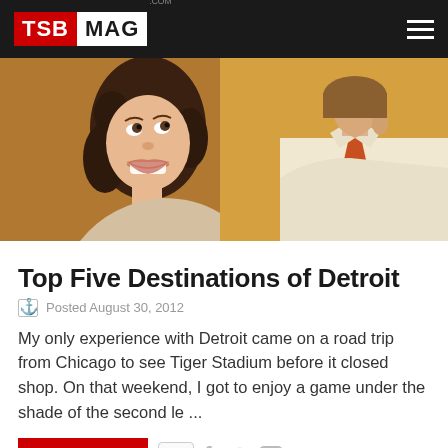TSB MAG .com
[Figure (photo): A smiling woman with curly dark hair looking up at a man in a light shirt with an orange tie, yellow background, romantic/social scene]
Top Five Destinations of Detroit
Posted August 30, 2012
My only experience with Detroit came on a road trip from Chicago to see Tiger Stadium before it closed shop. On that weekend, I got to enjoy a game under the shade of the second le ...
READ MORE